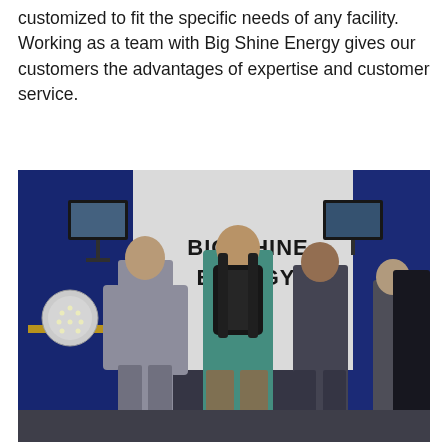We focus on producing top quality LED products, which are customized to fit the specific needs of any facility. Working as a team with Big Shine Energy gives our customers the advantages of expertise and customer service.
[Figure (photo): A photo of a trade show booth for Big Shine Energy. Several attendees are standing with their backs to the camera, looking at the booth which has a large white banner reading 'BIG SHINE ENERGY'. An LED light fixture is displayed on a table to the left. The booth has blue draping and a monitor mounted on a stand.]